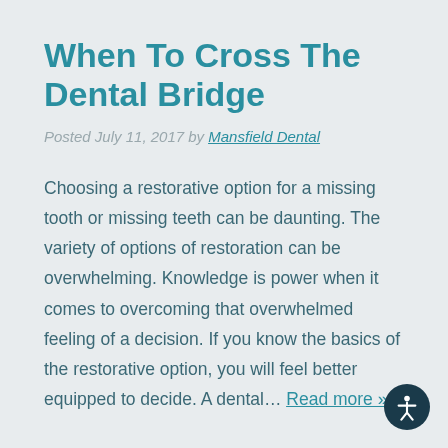When To Cross The Dental Bridge
Posted July 11, 2017 by Mansfield Dental
Choosing a restorative option for a missing tooth or missing teeth can be daunting. The variety of options of restoration can be overwhelming. Knowledge is power when it comes to overcoming that overwhelmed feeling of a decision. If you know the basics of the restorative option, you will feel better equipped to decide. A dental… Read more »